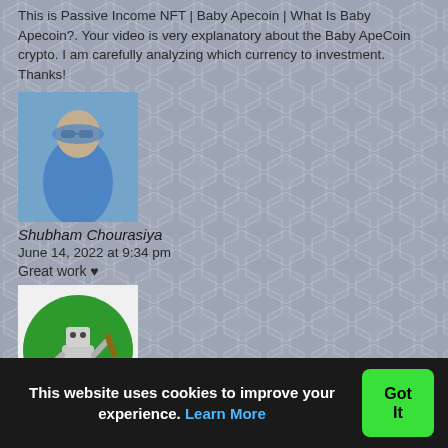This is Passive Income NFT | Baby Apecoin | What Is Baby Apecoin?. Your video is very explanatory about the Baby ApeCoin crypto. I am carefully analyzing which currency to investment. Thanks!
[Figure (photo): Profile photo of a person wearing a blue hoodie and sunglasses, standing outdoors]
Shubham Chourasiya
June 14, 2022 at 9:34 pm
Great work ♥
[Figure (illustration): Cricket Pride avatar: a robot/cricket player figure on a green circular background]
Cricket Pride
June 14, 2022 at 9:34 pm
Great video!!
[Figure (photo): Partially visible purple avatar image, cropped at bottom of page]
This website uses cookies to improve your experience. Learn More
Got It